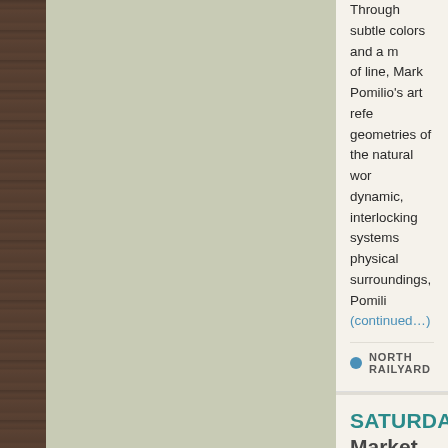Through subtle colors and a mastery of line, Mark Pomilio's art references the geometries of the natural world and dynamic, interlocking systems. In his physical surroundings, Pomili… (continued…)
NORTH RAILYARD
SATURDAY FARMERS Market Pavilion
August 27, 2022 @ 8:00 am
[Figure (photo): White image placeholder area below the farmers market event listing]